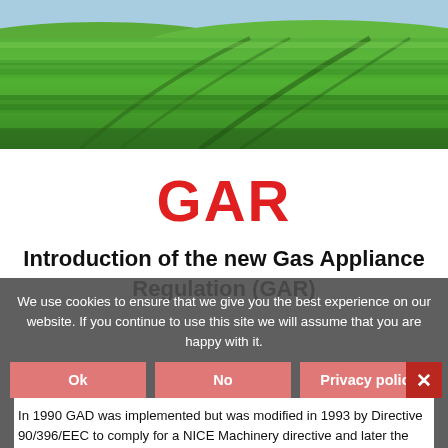[Figure (photo): Aerial view of a lush green grass/agricultural field with visible tracks or furrows.]
GAR
Introduction of the new Gas Appliance Regulation (GAR)
We use cookies to ensure that we give you the best experience on our website. If you continue to use this site we will assume that you are happy with it.
In 1990 GAD was implemented but was modified in 1993 by Directive 90/396/EEC to comply for a NICE Machinery directive and later the